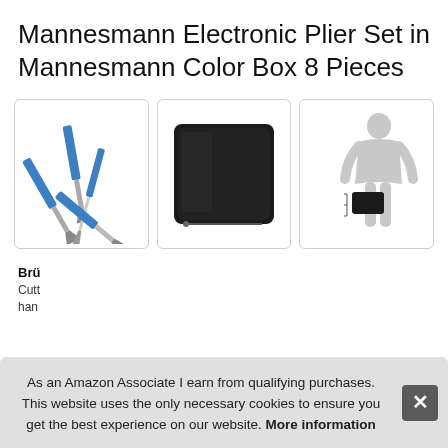Mannesmann Electronic Plier Set in Mannesmann Color Box 8 Pieces
[Figure (photo): Photo of multiple pliers with blue handles arranged on white background]
[Figure (photo): Photo of a black zippered tool case on white background]
[Figure (photo): Scale diagram showing silhouette of a person next to the tool case for size reference]
Brü
Cutt han
As an Amazon Associate I earn from qualifying purchases. This website uses the only necessary cookies to ensure you get the best experience on our website. More information
More information